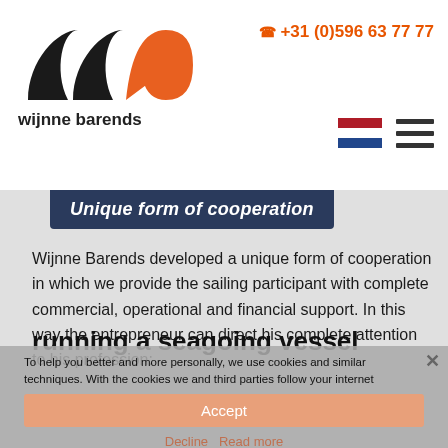wijnne barends | +31 (0)596 63 77 77
Unique form of cooperation
Wijnne Barends developed a unique form of cooperation in which we provide the sailing participant with complete commercial, operational and financial support. In this way the entrepreneur can direct his complete attention to his profession:
running a seagoing vessel
To help you better and more personally, we use cookies and similar techniques. With the cookies we and third parties follow your internet
Accept
Decline  Read more